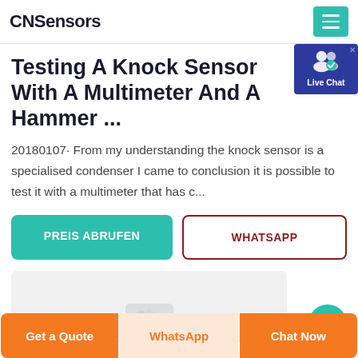CNSensors
Testing A Knock Sensor With A Multimeter And A Hammer ...
20180107· From my understanding the knock sensor is a specialised condenser I came to conclusion it is possible to test it with a multimeter that has c...
PREIS ABRUFEN
WHATSAPP
[Figure (photo): Partial image of a knock sensor, shown partially at bottom of content area]
Get a Quote | WhatsApp | Chat Now